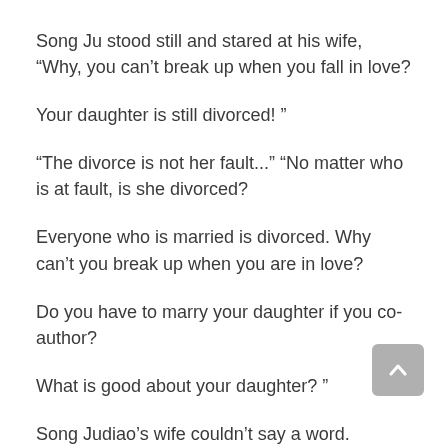Song Ju stood still and stared at his wife, “Why, you can’t break up when you fall in love?
Your daughter is still divorced! ”
“The divorce is not her fault...” “No matter who is at fault, is she divorced?
Everyone who is married is divorced. Why can’t you break up when you are in love?
Do you have to marry your daughter if you co-author?
What is good about your daughter? ”
Song Judiao’s wife couldn’t say a word.